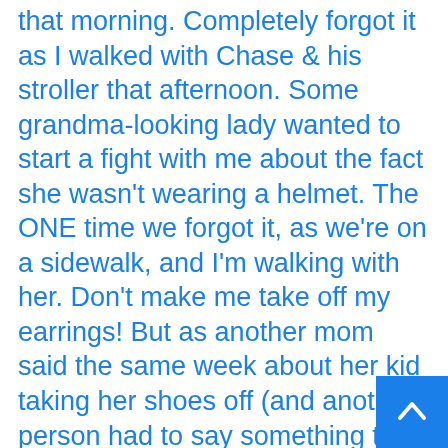that morning. Completely forgot it as I walked with Chase & his stroller that afternoon. Some grandma-looking lady wanted to start a fight with me about the fact she wasn't wearing a helmet. The ONE time we forgot it, as we're on a sidewalk, and I'm walking with her. Don't make me take off my earrings! But as another mom said the same week about her kid taking her shoes off (and another person had to say something to her about it)- "My kid, my problem."
Definitely a fine-line between it all- child endangerment and all the other issues... sucks to have yet one more thing to worry about with raising a kid